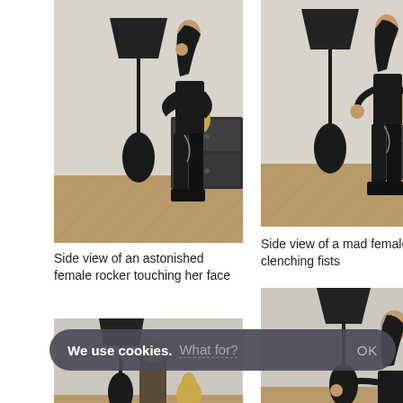[Figure (photo): Side view of a woman in black clothes with arms crossed touching her face, standing next to a tall black floor lamp and a dark dresser with a gold bust, herringbone wood floor.]
Side view of an astonished female rocker touching her face
[Figure (photo): Side view of a woman in black clothes clenching fists, standing next to a tall black floor lamp and a dark dresser with a gold bust, herringbone wood floor.]
Side view of a mad female rocker clenching fists
[Figure (photo): Partially visible bottom photo on the left, showing a lamp and gold bust.]
[Figure (photo): Partially visible bottom photo on the right, showing a woman with arms spread next to a black lamp.]
We use cookies. What for? OK